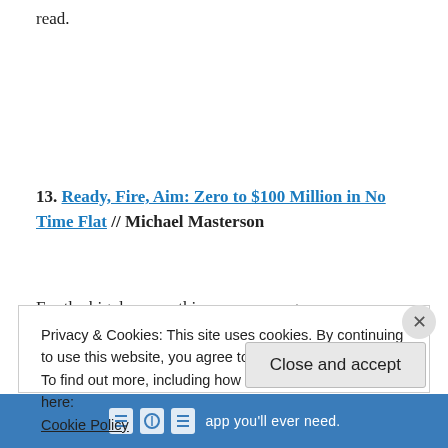read.
13. Ready, Fire, Aim: Zero to $100 Million in No Time Flat // Michael Masterson
For the big dreamer, this one encourages you
Privacy & Cookies: This site uses cookies. By continuing to use this website, you agree to their use.
To find out more, including how to control cookies, see here:
Cookie Policy
Close and accept
app you'll ever need.